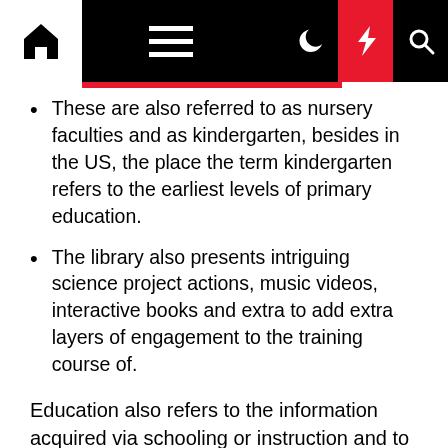[Figure (screenshot): Website navigation bar with home icon, hamburger menu, moon icon, red lightning bolt icon, and search icon on black background]
These are also referred to as nursery faculties and as kindergarten, besides in the US, the place the term kindergarten refers to the earliest levels of primary education.
The library also presents intriguing science project actions, music videos, interactive books and extra to add extra layers of engagement to the training course of.
Education also refers to the information acquired via schooling or instruction and to the establishment of instructing as a whole. Progressives Pressure Biden to Help Schools Address Student Homelessness Some Democrats in Congress say federal officers should promote cooperation throughout companies